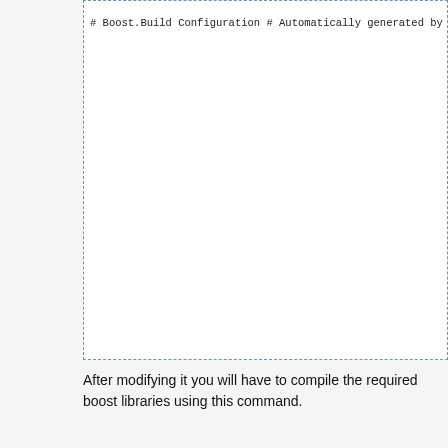[Figure (screenshot): Code block in a dashed border box showing Boost.Build configuration file content with Python configuration highlighted in red]
After modifying it you will have to compile the required boost libraries using this command.